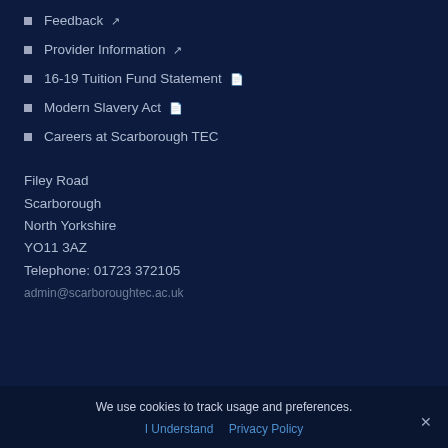Feedback ↗
Provider Information ↗
16-19 Tuition Fund Statement 📄
Modern Slavery Act 📄
Careers at Scarborough TEC
Filey Road
Scarborough
North Yorkshire
YO11 3AZ
Telephone: 01723 372105
admin@scarboroughtec.ac.uk (partial)
We use cookies to track usage and preferences.
I Understand   Privacy Policy